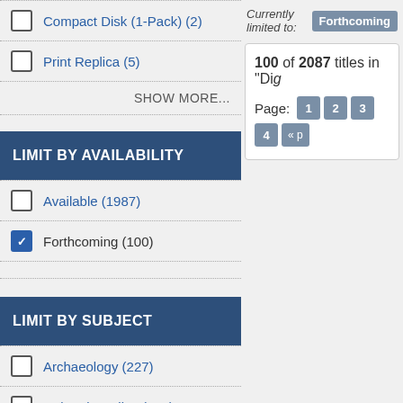Compact Disk (1-Pack) (2)
Print Replica (5)
SHOW MORE...
LIMIT BY AVAILABILITY
Available (1987)
Forthcoming (100)
LIMIT BY SUBJECT
Archaeology (227)
Cultural Studies (222)
Currently limited to: Forthcoming
100 of 2087 titles in "Dig
Page: 1 2 3 4 « p